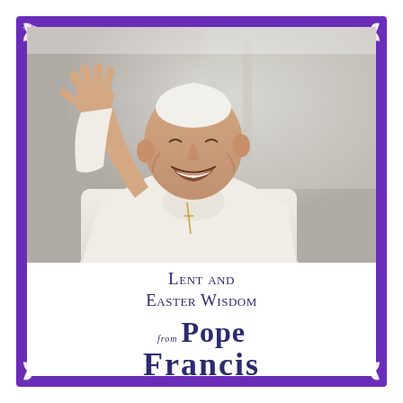[Figure (photo): Book cover with purple border and white floral corner ornaments. Center shows a photograph of Pope Francis in white papal vestments, smiling and waving with his right hand raised. Below the photo, text reads 'Lent and Easter Wisdom From Pope Francis'.]
Lent and Easter Wisdom
From Pope Francis